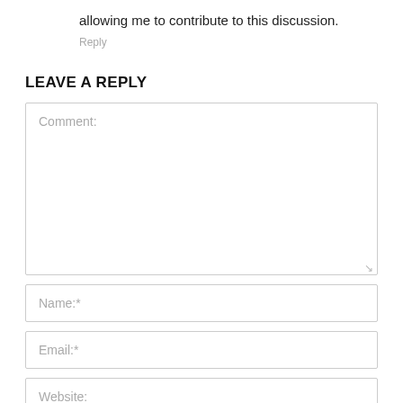allowing me to contribute to this discussion.
Reply
LEAVE A REPLY
Comment:
Name:*
Email:*
Website: